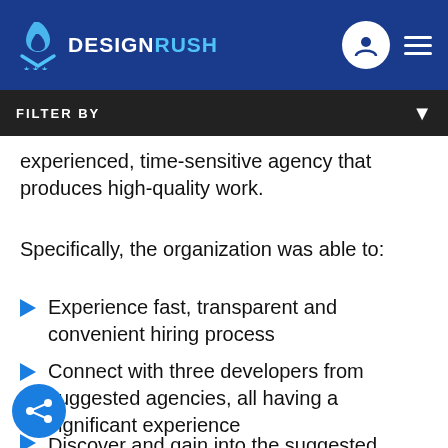DESIGNRUSH
FILTER BY
experienced, time-sensitive agency that produces high-quality work.
Specifically, the organization was able to:
Experience fast, transparent and convenient hiring process
Connect with three developers from suggested agencies, all having a significant experience
Discover and gain into the suggested based...